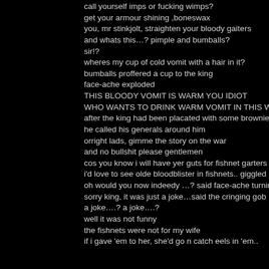call yourself imps or fucking wimps?
get your armour shining ,boneswax
you, mr stinkjolt, straighten your bloody gaiters
and whats this…? pimple and bumballs?
sir!?
wheres my cup of cold vomit with a hair in it?
bumballs proffered a cup to the king
face-ache exploded
THIS BLOODY VOMIT IS WARM YOU IDIOT
WHO WANTS TO DRINK WARM VOMIT IN THIS WEY
after the king had been placated with some brownie so
he called his generals around him
orright lads, gimme the story on the war
and no bullshit please gentlemen
cos you know i will have yer guts for fishnet garters
i'd love to see olde bloodblister in fishnets.. giggled a g
oh would you now indeedy …? said face-ache turning
sorry king, it was just a joke…said the cringing gob
a joke….? a joke….?
well it was not funny
the fishnets were not for my wife
if i gave 'em to her, she'd go n catch eels in 'em..